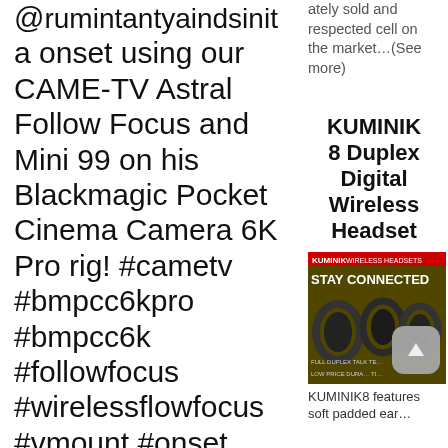@…a onset using our CAME-TV Astral Follow Focus and Mini 99 on his Blackmagic Pocket Cinema Camera 6K Pro rig! #cametv #bmpcc6kpro #bmpcc6k #followfocus #wirelessflowfocus #vmount #onset
…ately sold and respected cell on the market…(See more)
KUMINIK 8 Duplex Digital Wireless Headset
[Figure (photo): KUMINIK Wireless Headsets advertisement showing headsets with text 'STAY CONNECTED', 'FULL DUPLEX TALK TE…', 'LOW PRICE DURA… TI…']
KUMINIK8 features soft padded ear…